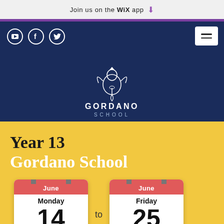Join us on the WiX app
[Figure (logo): Gordano School logo with dragon and text GORDANO SCHOOL on navy background]
Year 13
Gordano School
[Figure (infographic): Two calendar icons showing Monday June 14 to Friday June 25]